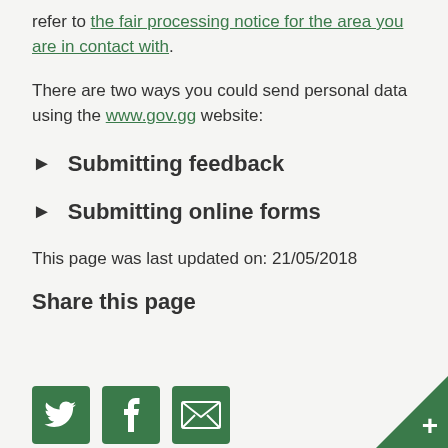refer to the fair processing notice for the area you are in contact with.
There are two ways you could send personal data using the www.gov.gg website:
Submitting feedback
Submitting online forms
This page was last updated on: 21/05/2018
Share this page